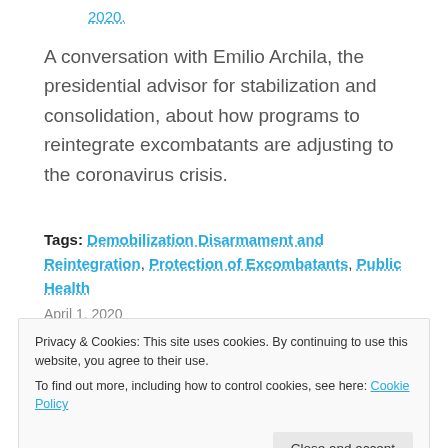2020:
A conversation with Emilio Archila, the presidential advisor for stabilization and consolidation, about how programs to reintegrate excombatants are adjusting to the coronavirus crisis.
Tags: Demobilization Disarmament and Reintegration, Protection of Excombatants, Public Health
April 1, 2020
Privacy & Cookies: This site uses cookies. By continuing to use this website, you agree to their use.
To find out more, including how to control cookies, see here: Cookie Policy
del Secretario General en